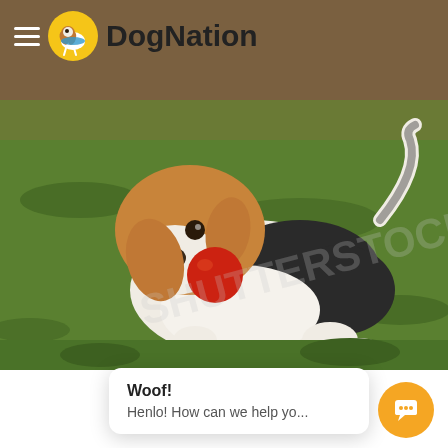[Figure (photo): A beagle puppy running on green grass, carrying a red ball in its mouth. The background shows blurred green/brown outdoor scenery. A stock photo watermark is faintly visible.]
≡ DogNation
Woof!
Henlo! How can we help yo...